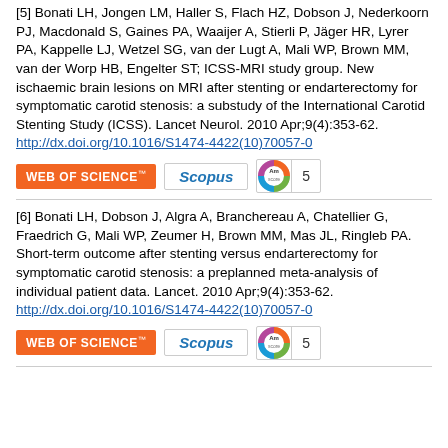[5] Bonati LH, Jongen LM, Haller S, Flach HZ, Dobson J, Nederkoorn PJ, Macdonald S, Gaines PA, Waaijer A, Stierli P, Jäger HR, Lyrer PA, Kappelle LJ, Wetzel SG, van der Lugt A, Mali WP, Brown MM, van der Worp HB, Engelter ST; ICSS-MRI study group. New ischaemic brain lesions on MRI after stenting or endarterectomy for symptomatic carotid stenosis: a substudy of the International Carotid Stenting Study (ICSS). Lancet Neurol. 2010 Apr;9(4):353-62. http://dx.doi.org/10.1016/S1474-4422(10)70057-0
[Figure (other): Web of Science badge, Scopus badge, Altmetric score badge showing 5]
[6] Bonati LH, Dobson J, Algra A, Branchereau A, Chatellier G, Fraedrich G, Mali WP, Zeumer H, Brown MM, Mas JL, Ringleb PA. Short-term outcome after stenting versus endarterectomy for symptomatic carotid stenosis: a preplanned meta-analysis of individual patient data. Lancet. 2010 Apr;9(4):353-62. http://dx.doi.org/10.1016/S1474-4422(10)70057-0
[Figure (other): Web of Science badge, Scopus badge, Altmetric score badge showing 5]